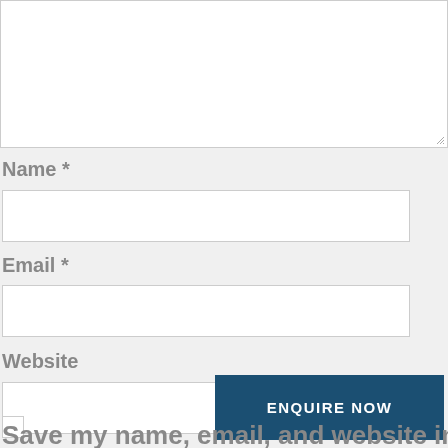[Figure (other): Empty textarea input box with resize handle at bottom right]
Name *
[Figure (other): Empty text input field for Name]
Email *
[Figure (other): Empty text input field for Email]
Website
[Figure (other): Empty text input field for Website alongside ENQUIRE NOW button]
[Figure (other): Checkbox (unchecked)]
Save my name, email, and website in this